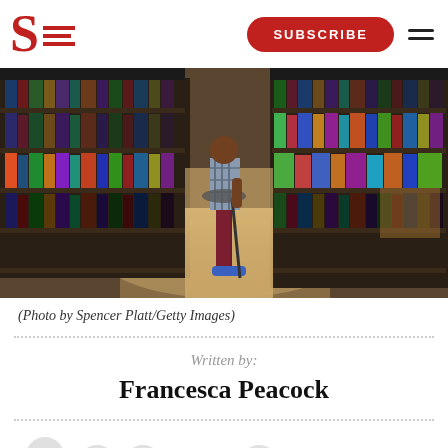S (logo) | SUBSCRIBE
[Figure (photo): Interior of a bookstore showing a person with an umbrella walking between tall bookshelves filled with books]
(Photo by Spencer Platt/Getty Images)
Written by:
Francesca Peacock
Share